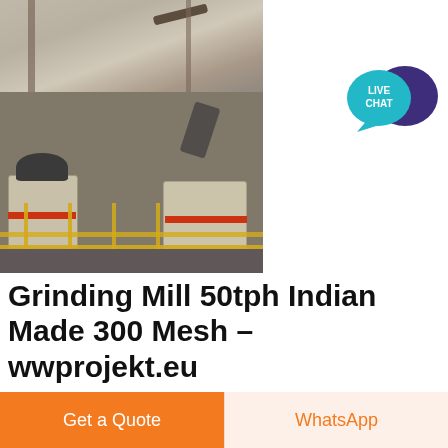[Figure (photo): Industrial grinding/crushing mill machinery at a quarry or mining site. Two large cone crusher machines with red stripe markings and yellow safety railings visible, with conveyor belts and industrial structures in the background.]
[Figure (other): Live chat button icon with teal circle and dark purple speech bubble]
Grinding Mill 50tph Indian Made 300 Mesh - wwprojekt.eu
300 mesh grinding machine china - aatma. Carbon
Get a Quote
WhatsApp